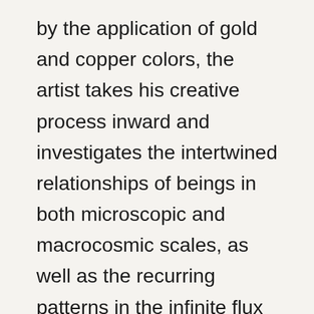by the application of gold and copper colors, the artist takes his creative process inward and investigates the intertwined relationships of beings in both microscopic and macrocosmic scales, as well as the recurring patterns in the infinite flux of the universe. On one hand, Yuill's seemingly mechanically drawn geometric compositions call to mind mathematical or scientific symbols that represent human's ever increasing wealth of knowledge about the world we live in, behind each simple sign is a complex concept of how we understand its system or even how we attempt to alter it; on the other hand, his